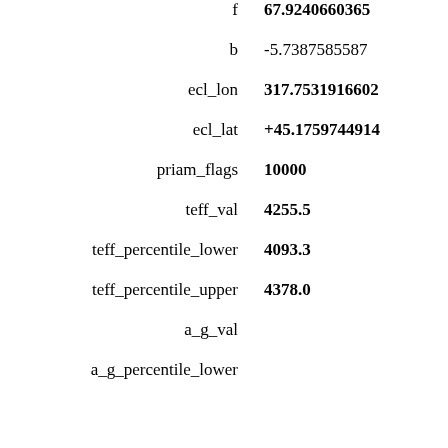| key | value |
| --- | --- |
| f | 67.9240660365… |
| b | -5.7387585587… |
| ecl_lon | 317.7531916602… |
| ecl_lat | +45.1759744914… |
| priam_flags | 10000… |
| teff_val | 4255.5… |
| teff_percentile_lower | 4093.3… |
| teff_percentile_upper | 4378.0… |
| a_g_val |  |
| a_g_percentile_lower |  |